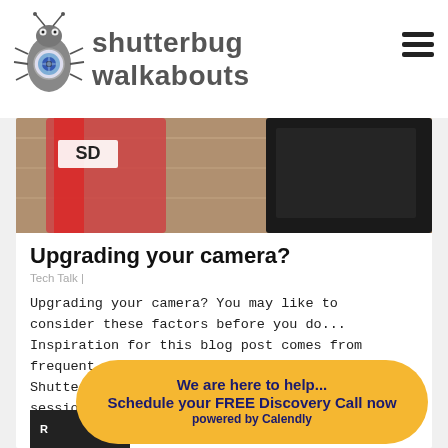shutterbug walkabouts
[Figure (photo): Partial photo of camera equipment on a wooden surface, showing edge of a red and grey camera strap and a dark camera body]
Upgrading your camera?
Tech Talk |
Upgrading your camera? You may like to consider these factors before you do... Inspiration for this blog post comes from frequent conversations with our Shutterbug guests during tuition sessions and our own...
We are here to help... Schedule your FREE Discovery Call now powered by Calendly